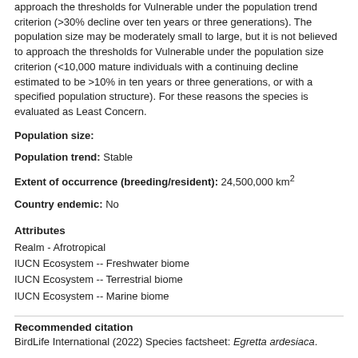approach the thresholds for Vulnerable under the population trend criterion (>30% decline over ten years or three generations). The population size may be moderately small to large, but it is not believed to approach the thresholds for Vulnerable under the population size criterion (<10,000 mature individuals with a continuing decline estimated to be >10% in ten years or three generations, or with a specified population structure). For these reasons the species is evaluated as Least Concern.
Population size:
Population trend: Stable
Extent of occurrence (breeding/resident): 24,500,000 km2
Country endemic: No
Attributes
Realm - Afrotropical
IUCN Ecosystem -- Freshwater biome
IUCN Ecosystem -- Terrestrial biome
IUCN Ecosystem -- Marine biome
Recommended citation
BirdLife International (2022) Species factsheet: Egretta ardesiaca.